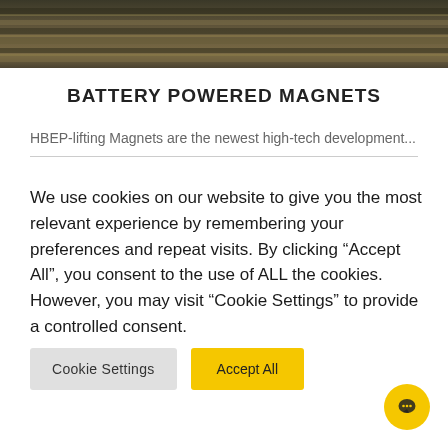[Figure (photo): Close-up photo of metal bars or steel plates stacked, showing industrial metallic surface with rust and ridges]
BATTERY POWERED MAGNETS
HBEP-lifting Magnets are the newest high-tech development...
We use cookies on our website to give you the most relevant experience by remembering your preferences and repeat visits. By clicking “Accept All”, you consent to the use of ALL the cookies. However, you may visit "Cookie Settings" to provide a controlled consent.
Cookie Settings | Accept All